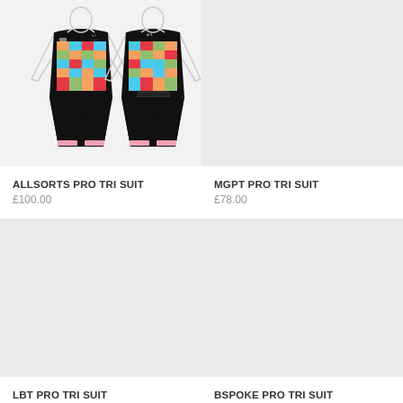[Figure (illustration): Front and back view of a black triathlon suit with colorful patchwork pattern on the chest and pink trim at the legs. ALLSORTS PRO TRI SUIT product listing.]
ALLSORTS PRO TRI SUIT
£100.00
[Figure (illustration): Gray placeholder box for MGPT PRO TRI SUIT product image.]
MGPT PRO TRI SUIT
£78.00
[Figure (illustration): Gray placeholder box for LBT PRO TRI SUIT product image.]
LBT PRO TRI SUIT
[Figure (illustration): Gray placeholder box for BSPOKE PRO TRI SUIT product image.]
BSPOKE PRO TRI SUIT